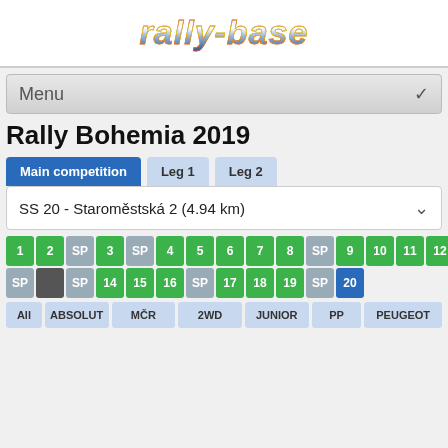[Figure (logo): rally-base logo in stylized metallic text]
Menu
Rally Bohemia 2019
Main competition  Leg 1  Leg 2
SS 20 - Staroměstská 2 (4.94 km)
Stage grid: 1, 2, SP, 3, SP, 4, 5, 6, 7, 8, SP, 9, 10, 11, 12, 13 / SP, SP, 14, 15, 16, SP, 17, 18, 19, SP, 20
Filters: All  ABSOLUT  MČR  2WD  JUNIOR  PP  PEUGEOT